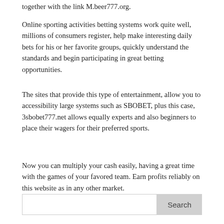together with the link M.beer777.org.
Online sporting activities betting systems work quite well, millions of consumers register, help make interesting daily bets for his or her favorite groups, quickly understand the standards and begin participating in great betting opportunities.
The sites that provide this type of entertainment, allow you to accessibility large systems such as SBOBET, plus this case, 3sbobet777.net allows equally experts and also beginners to place their wagers for their preferred sports.
Now you can multiply your cash easily, having a great time with the games of your favored team. Earn profits reliably on this website as in any other market.